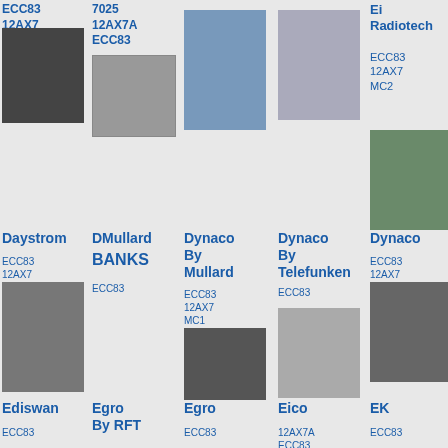ECC83 12AX7
7025 12AX7A ECC83
[Figure (photo): Vacuum tube photo]
[Figure (photo): Multiple vacuum tubes photo]
ECC83 12AX7 MC2
[Figure (photo): Single vacuum tube]
[Figure (photo): Two tubes in box]
[Figure (photo): Two green tubes]
Daystrom
DMullard BANKS
Dynaco By Mullard
Dynaco By Telefunken
Dynaco
ECC83 12AX7
ECC83
ECC83 12AX7 MC1
ECC83
ECC83 12AX7
[Figure (photo): Single vacuum tube]
[Figure (photo): Two vacuum tubes]
[Figure (photo): Two tubes]
[Figure (photo): Partial tube photo]
Ediswan
Egro By RFT
Egro
Eico
EK
ECC83
ECC83
12AX7A ECC83
ECC83